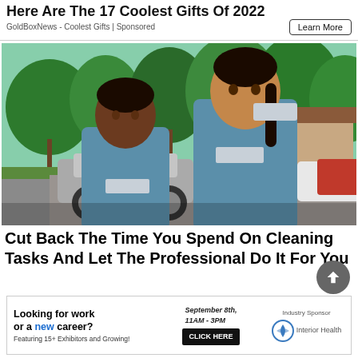Here Are The 17 Coolest Gifts Of 2022
GoldBoxNews - Coolest Gifts | Sponsored
Learn More
[Figure (photo): Two women in blue uniforms smiling outdoors in a suburban neighborhood with cars and trees in the background]
Cut Back The Time You Spend On Cleaning Tasks And Let The Professional Do It For You
[Figure (infographic): Banner ad: Looking for work or a new career? Featuring 15+ Exhibitors and Growing! September 8th, 11AM-3PM CLICK HERE. Industry Sponsor: Interior Health]